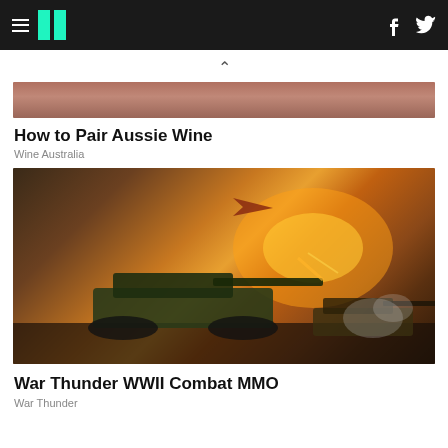HuffPost navigation with hamburger menu, logo, Facebook and Twitter icons
[Figure (photo): Partial top image cropped, showing a dark reddish scene]
How to Pair Aussie Wine
Wine Australia
[Figure (photo): War Thunder WWII Combat MMO game artwork showing tanks in battle with explosions and aircraft]
War Thunder WWII Combat MMO
War Thunder